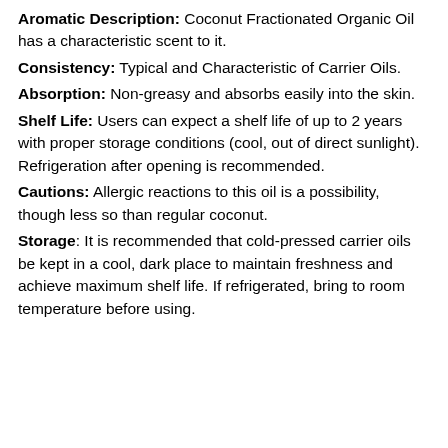Aromatic Description: Coconut Fractionated Organic Oil has a characteristic scent to it.
Consistency: Typical and Characteristic of Carrier Oils.
Absorption: Non-greasy and absorbs easily into the skin.
Shelf Life: Users can expect a shelf life of up to 2 years with proper storage conditions (cool, out of direct sunlight). Refrigeration after opening is recommended.
Cautions: Allergic reactions to this oil is a possibility, though less so than regular coconut.
Storage: It is recommended that cold-pressed carrier oils be kept in a cool, dark place to maintain freshness and achieve maximum shelf life. If refrigerated, bring to room temperature before using.